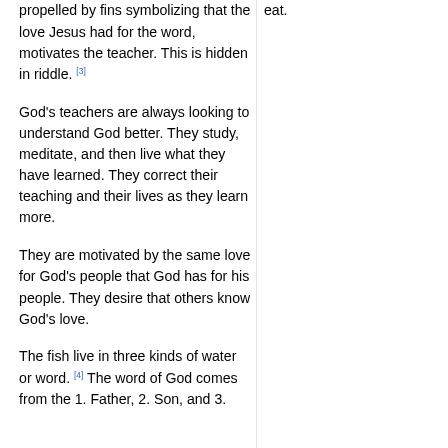propelled by fins symbolizing that the love Jesus had for the word, motivates the teacher. This is hidden in riddle. [3]
God's teachers are always looking to understand God better. They study, meditate, and then live what they have learned. They correct their teaching and their lives as they learn more.
They are motivated by the same love for God's people that God has for his people. They desire that others know God's love.
The fish live in three kinds of water or word. [4] The word of God comes from the 1. Father, 2. Son, and 3.
eat.